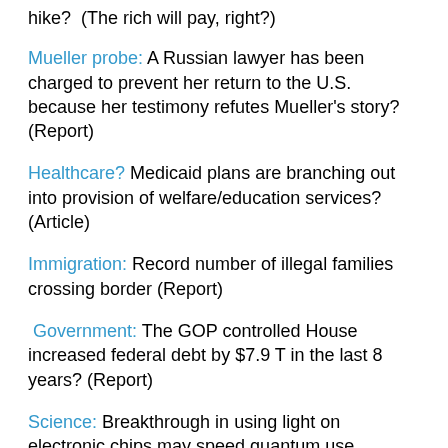hike?  (The rich will pay, right?)
Mueller probe: A Russian lawyer has been charged to prevent her return to the U.S. because her testimony refutes Mueller's story? (Report)
Healthcare? Medicaid plans are branching out into provision of welfare/education services? (Article)
Immigration: Record number of illegal families crossing border (Report)
Government: The GOP controlled House increased federal debt by $7.9 T in the last 8 years? (Report)
Science: Breakthrough in using light on electronic chips may speed quantum use (Report)
California: Federal post-fire reconstruction funds on hold